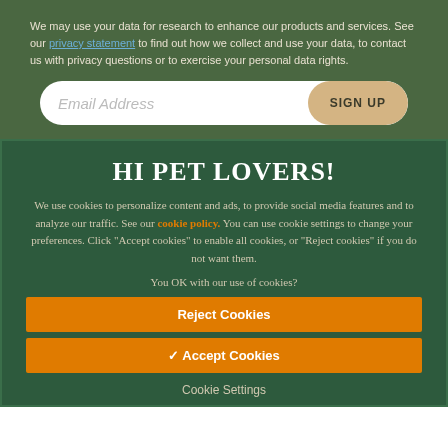We may use your data for research to enhance our products and services. See our privacy statement to find out how we collect and use your data, to contact us with privacy questions or to exercise your personal data rights.
[Figure (screenshot): Email address input field with SIGN UP button]
HI PET LOVERS!
We use cookies to personalize content and ads, to provide social media features and to analyze our traffic. See our cookie policy. You can use cookie settings to change your preferences. Click "Accept cookies" to enable all cookies, or "Reject cookies" if you do not want them.
You OK with our use of cookies?
Reject Cookies
✓ Accept Cookies
Cookie Settings